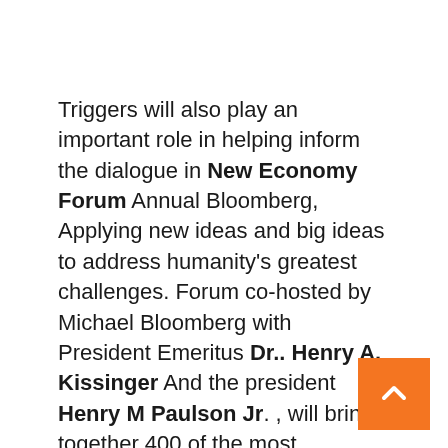Triggers will also play an important role in helping inform the dialogue in New Economy Forum Annual Bloomberg, Applying new ideas and big ideas to address humanity's greatest challenges. Forum co-hosted by Michael Bloomberg with President Emeritus Dr.. Henry A. Kissinger And the president Henry M Paulson Jr. , will bring together 400 of the most influential businessmen, heads of state, innovators and academics from 16-19 November in Singapore.
The 2021 Forum is being held jointly by ADNOC, Dangote Industries Limited, ExxonMobil, HSBC, Hyundai Motor Company, Mastercard, Tata Sons